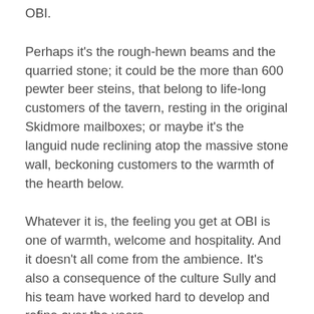OBI.
Perhaps it’s the rough-hewn beams and the quarried stone; it could be the more than 600 pewter beer steins, that belong to life-long customers of the tavern, resting in the original Skidmore mailboxes; or maybe it’s the languid nude reclining atop the massive stone wall, beckoning customers to the warmth of the hearth below.
Whatever it is, the feeling you get at OBI is one of warmth, welcome and hospitality. And it doesn’t all come from the ambience. It’s also a consequence of the culture Sully and his team have worked hard to develop and refine over the years.
“It didn’t just happen overnight,” says Sully. A natural